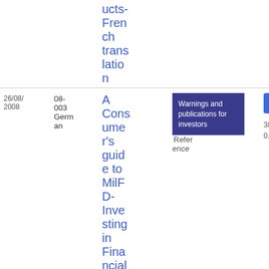ucts-French translation
| Date | Ref | Title | Category | Link |
| --- | --- | --- | --- | --- |
| 26/08/2008 | 08-003 German | A Consumer's guide to MiFD-Investing in Financial products- | Warnings and publications for investors | Reference PDF 38 0.1 KB |